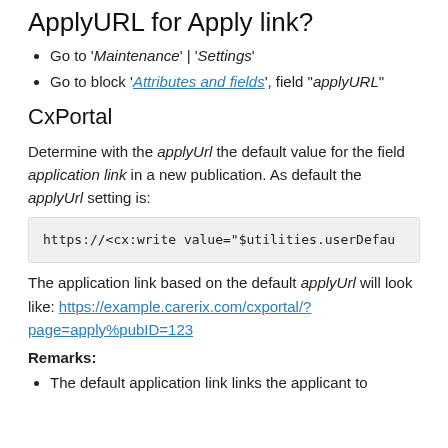ApplyURL for Apply link?
Go to 'Maintenance' | 'Settings'
Go to block 'Attributes and fields', field "applyURL"
CxPortal
Determine with the applyUrl the default value for the field application link in a new publication. As default the applyUrl setting is:
https://<cx:write value="$utilities.userDefau
The application link based on the default applyUrl will look like: https://example.carerix.com/cxportal/?page=apply%pubID=123
Remarks:
The default application link links the applicant to